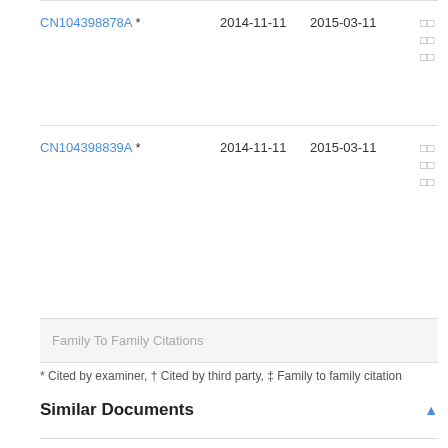| Patent | Priority Date | Publication Date | Assignee |
| --- | --- | --- | --- |
| CN104398878A * | 2014-11-11 | 2015-03-11 | □□□□□□ |
| CN104398839A * | 2014-11-11 | 2015-03-11 | □□□□□□ |
Family To Family Citations
* Cited by examiner, † Cited by third party, ‡ Family to family citation
Similar Documents